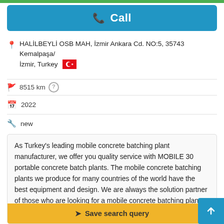[Figure (other): Green bar at top of page]
📞 Call
📍 HALİLBEYLİ OSB MAH, İzmir Ankara Cd. NO:5, 35743 Kemalpaşa/İzmir, Turkey 🇹🇷
🚩 8515 km ?
📅 2022
🔧 new
As Turkey's leading mobile concrete batching plant manufacturer, we offer you quality service with MOBILE 30 portable concrete batch plants. The mobile concrete batching plants we produce for many countries of the world have the best equipment and design. We are always the solution partner of those who are looking for a mobile concrete batching plant for sale. In addition, our company helps you with concrete p... t results for you wit... du
➤ Save search query